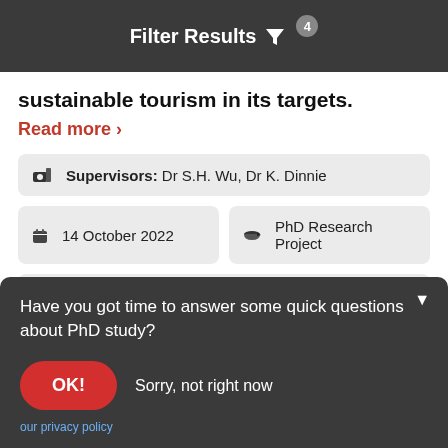Filter Results 4
sustainable tourism in its targets.
Read more ›
Supervisors: Dr S.H. Wu, Dr K. Dinnie
14 October 2022
PhD Research Project
Competition Funded PhD Project (Students Worldwide)
Have you got time to answer some quick questions about PhD study?
OK!
Sorry, not right now
our privacy policy